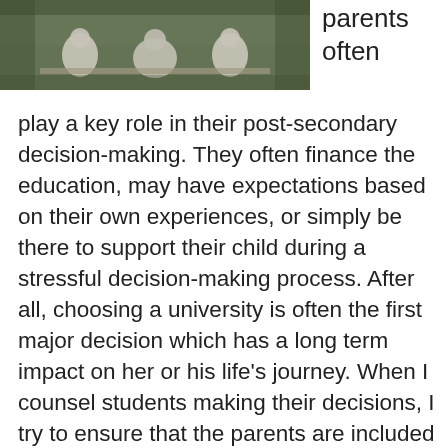[Figure (photo): Black and white photo of figures (possibly statues or people) sitting outdoors on a bench among foliage.]
parents often play a key role in their post-secondary decision-making. They often finance the education, may have expectations based on their own experiences, or simply be there to support their child during a stressful decision-making process. After all, choosing a university is often the first major decision which has a long term impact on her or his life’s journey. When I counsel students making their decisions, I try to ensure that the parents are included in the process in a supportive role. In order to do so, I spend a great deal of time dispelling myths, helping them to understand current post-secondary realities and educating them about where they might find reliable information regarding their child’s choices. I do find much of the conversation is reminding parents that all